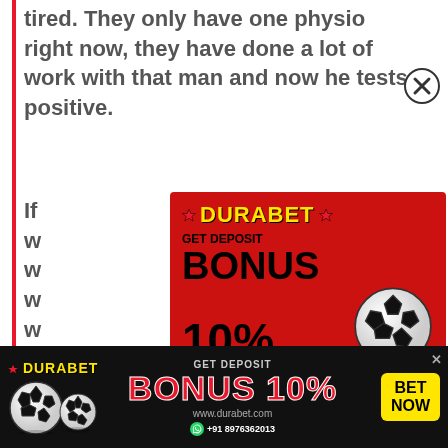tired. They only have one physio right now, they have done a lot of work with that man and now he tests positive.
[Figure (infographic): DURABET betting advertisement popup with red background. Shows 'GET DEPOSIT BONUS 10%' text, a 'BET NOW' black button, football/soccer ball image, and WhatsApp contact +91 8976362013. Yellow DURABET logo at top with star icons.]
[Figure (infographic): DURABET bottom banner ad on black background. Shows DURABET logo, soccer ball, 'GET DEPOSIT BONUS 10%' in red, www.durabet.com, yellow BET NOW button, and +91 8976362013 WhatsApp contact.]